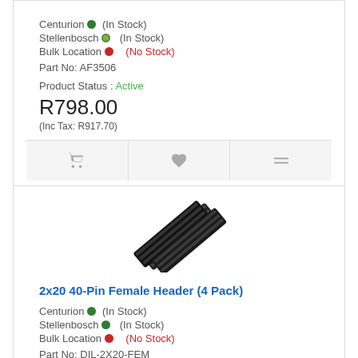Centurion • (In Stock)
Stellenbosch • (In Stock)
Bulk Location • (No Stock)
Part No: AF3506
Product Status : Active
R798.00
(Inc Tax: R917.70)
[Figure (photo): Photo of 2x20 40-Pin Female Header (4 Pack) - black connector strips shown at an angle]
2x20 40-Pin Female Header (4 Pack)
Centurion • (In Stock)
Stellenbosch • (In Stock)
Bulk Location • (No Stock)
Part No: DIL-2X20-FEM
Product Status : Active
R1 4...